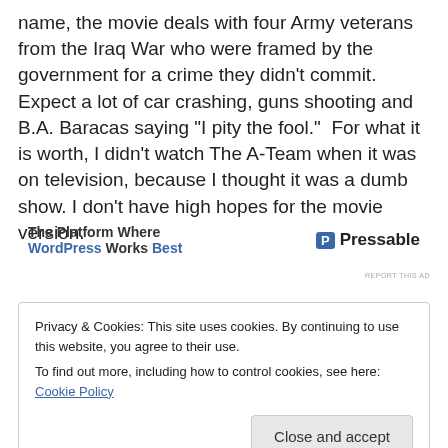name, the movie deals with four Army veterans from the Iraq War who were framed by the government for a crime they didn't commit. Expect a lot of car crashing, guns shooting and B.A. Baracas saying “I pity the fool.”  For what it is worth, I didn’t watch The A-Team when it was on television, because I thought it was a dumb show. I don’t have high hopes for the movie version.
[Figure (other): Advertisement banner: The Platform Where WordPress Works Best — Pressable logo]
Privacy & Cookies: This site uses cookies. By continuing to use this website, you agree to their use.
To find out more, including how to control cookies, see here: Cookie Policy
Close and accept